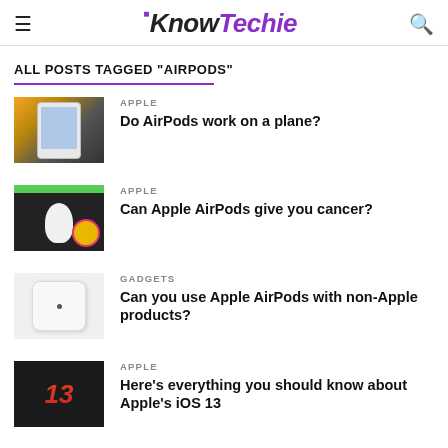KnowTechie
ALL POSTS TAGGED "AIRPODS"
[Figure (photo): Thumbnail of a hand holding a smartphone]
APPLE
Do AirPods work on a plane?
[Figure (photo): Thumbnail showing AirPods being removed from case with colorful badge]
APPLE
Can Apple AirPods give you cancer?
[Figure (photo): Thumbnail of AirPods in white charging case on gray background]
GADGETS
Can you use Apple AirPods with non-Apple products?
[Figure (photo): Thumbnail showing iOS 13 logo on dark background]
APPLE
Here's everything you should know about Apple's iOS 13